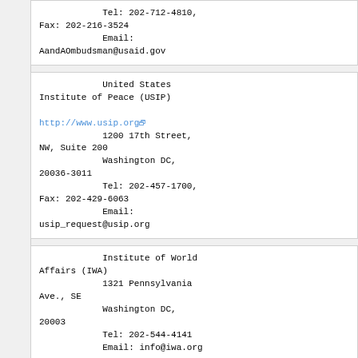Tel: 202-712-4810, Fax: 202-216-3524
            Email:
AandAOmbudsman@usaid.gov
United States Institute of Peace (USIP)

http://www.usip.org
            1200 17th Street, NW, Suite 200
            Washington DC, 20036-3011
            Tel: 202-457-1700, Fax: 202-429-6063
            Email:
usip_request@usip.org
Institute of World Affairs (IWA)
            1321 Pennsylvania Ave., SE
            Washington DC, 20003
            Tel: 202-544-4141
            Email: info@iwa.org